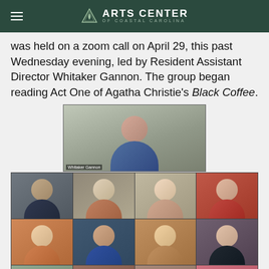Arts Center of Coastal Carolina
was held on a zoom call on April 29, this past Wednesday evening, led by Resident Assistant Director Whitaker Gannon. The group began reading Act One of Agatha Christie's Black Coffee.
[Figure (photo): A Zoom call screenshot showing Whitaker Gannon in a top tile and a 4x3 grid of 12 participants below, all in separate video tiles.]
You may recognize a few familiar faces in the zoom call including Warren Kelley (Murder on the Orient